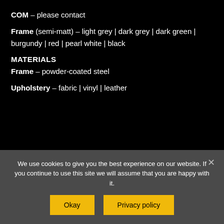COM – please contact
Frame (semi-matt) – light grey | dark grey | dark green | burgundy | red | pearl white | black
MATERIALS
Frame – powder-coated steel
Upholstery – fabric | vinyl | leather
Ask a Question >
Book a Showroom Visit >
We use cookies to give you the best experience on our website. If you continue to use this site we will assume that you are happy with it.
Okay
Privacy policy